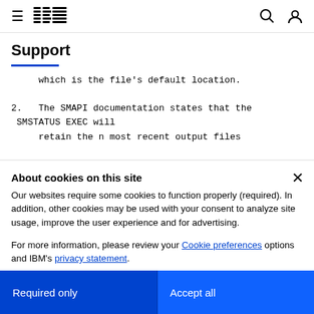IBM Support
Support
which is the file's default location.

2.  The SMAPI documentation states that the SMSTATUS EXEC will

    retain the n most recent output files
About cookies on this site
Our websites require some cookies to function properly (required). In addition, other cookies may be used with your consent to analyze site usage, improve the user experience and for advertising.

For more information, please review your Cookie preferences options and IBM's privacy statement.
Required only
Accept all